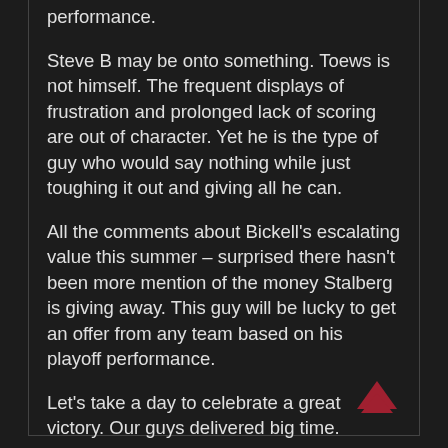highlights delivering them in an awesome performance.
Steve B may be onto something. Toews is not himself. The frequent displays of frustration and prolonged lack of scoring are out of character. Yet he is the type of guy who would say nothing while just toughing it out and giving all he can.
All the comments about Bickell's escalating value this summer – surprised there hasn't been more mention of the money Stalberg is giving away. This guy will be lucky to get an offer from any team based on his playoff performance.
Let's take a day to celebrate a great victory. Our guys delivered big time.